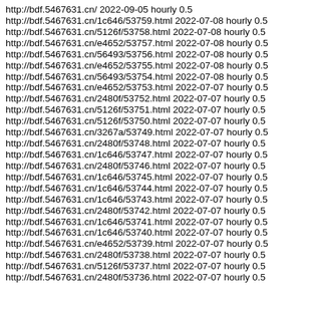http://bdf.5467631.cn/ 2022-09-05 hourly 0.5
http://bdf.5467631.cn/1c646/53759.html 2022-07-08 hourly 0.5
http://bdf.5467631.cn/5126f/53758.html 2022-07-08 hourly 0.5
http://bdf.5467631.cn/e4652/53757.html 2022-07-08 hourly 0.5
http://bdf.5467631.cn/56493/53756.html 2022-07-08 hourly 0.5
http://bdf.5467631.cn/e4652/53755.html 2022-07-08 hourly 0.5
http://bdf.5467631.cn/56493/53754.html 2022-07-08 hourly 0.5
http://bdf.5467631.cn/e4652/53753.html 2022-07-07 hourly 0.5
http://bdf.5467631.cn/2480f/53752.html 2022-07-07 hourly 0.5
http://bdf.5467631.cn/5126f/53751.html 2022-07-07 hourly 0.5
http://bdf.5467631.cn/5126f/53750.html 2022-07-07 hourly 0.5
http://bdf.5467631.cn/3267a/53749.html 2022-07-07 hourly 0.5
http://bdf.5467631.cn/2480f/53748.html 2022-07-07 hourly 0.5
http://bdf.5467631.cn/1c646/53747.html 2022-07-07 hourly 0.5
http://bdf.5467631.cn/2480f/53746.html 2022-07-07 hourly 0.5
http://bdf.5467631.cn/1c646/53745.html 2022-07-07 hourly 0.5
http://bdf.5467631.cn/1c646/53744.html 2022-07-07 hourly 0.5
http://bdf.5467631.cn/1c646/53743.html 2022-07-07 hourly 0.5
http://bdf.5467631.cn/2480f/53742.html 2022-07-07 hourly 0.5
http://bdf.5467631.cn/1c646/53741.html 2022-07-07 hourly 0.5
http://bdf.5467631.cn/1c646/53740.html 2022-07-07 hourly 0.5
http://bdf.5467631.cn/e4652/53739.html 2022-07-07 hourly 0.5
http://bdf.5467631.cn/2480f/53738.html 2022-07-07 hourly 0.5
http://bdf.5467631.cn/5126f/53737.html 2022-07-07 hourly 0.5
http://bdf.5467631.cn/2480f/53736.html 2022-07-07 hourly 0.5